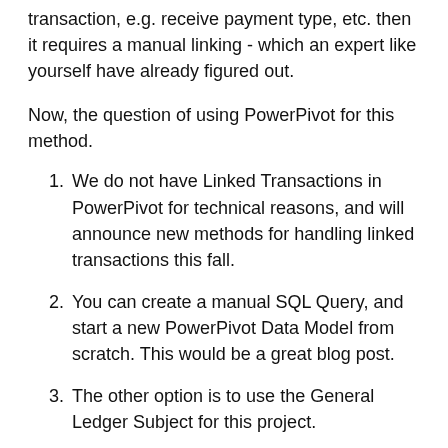transaction, e.g. receive payment type, etc. then it requires a manual linking - which an expert like yourself have already figured out.
Now, the question of using PowerPivot for this method.
We do not have Linked Transactions in PowerPivot for technical reasons, and will announce new methods for handling linked transactions this fall.
You can create a manual SQL Query, and start a new PowerPivot Data Model from scratch. This would be a great blog post.
The other option is to use the General Ledger Subject for this project.
The General Ledger Subject contains both the